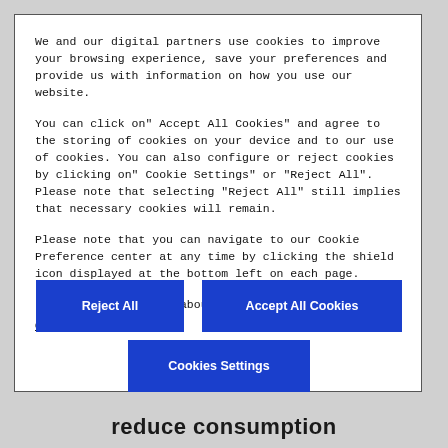We and our digital partners use cookies to improve your browsing experience, save your preferences and provide us with information on how you use our website.
You can click on" Accept All Cookies" and agree to the storing of cookies on your device and to our use of cookies. You can also configure or reject cookies by clicking on" Cookie Settings" or "Reject All". Please note that selecting "Reject All" still implies that necessary cookies will remain.
Please note that you can navigate to our Cookie Preference center at any time by clicking the shield icon displayed at the bottom left on each page.
For more information about cookies, please see our  Cookie Notice
Reject All
Accept All Cookies
Cookies Settings
reduce consumption